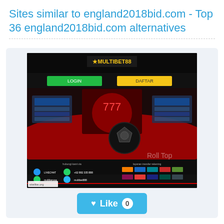Sites similar to england2018bid.com - Top 36 england2018bid.com alternatives
[Figure (screenshot): Screenshot of multibet88 gambling/sports betting website showing casino games, sports betting, soccer ball, slot machines, and payment method logos. Watermark 'sitelike.org' at bottom left. A 'Roll Top' watermark on the right side.]
[Figure (other): Like button with heart icon showing 0 likes, cyan/blue color]
[Figure (other): Globe icon for line56.com]
line56.com
line 56